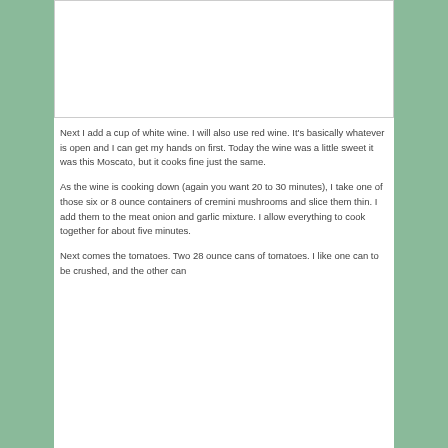[Figure (photo): Photograph placeholder — white/blank image area at top of page]
Next I add a cup of white wine. I will also use red wine. It's basically whatever is open and I can get my hands on first. Today the wine was a little sweet it was this Moscato, but it cooks fine just the same.
As the wine is cooking down (again you want 20 to 30 minutes), I take one of those six or 8 ounce containers of cremini mushrooms and slice them thin. I add them to the meat onion and garlic mixture. I allow everything to cook together for about five minutes.
Next comes the tomatoes. Two 28 ounce cans of tomatoes. I like one can to be crushed, and the other can